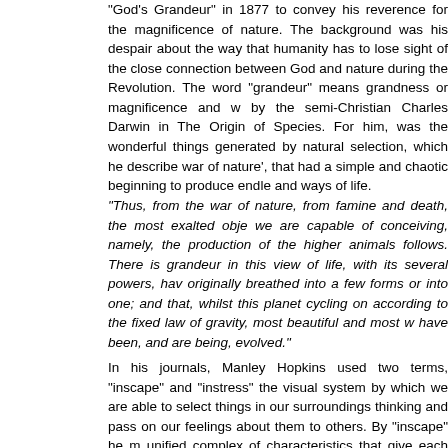“God’s Grandeur” in 1877 to convey his reverence for the magnificence of nature. The background was his despair about the way that humanity has to lose sight of the close connection between God and nature during the Revolution. The word “grandeur” means grandness or magnificence and w by the semi-Christian Charles Darwin in The Origin of Species. For him, was the wonderful things generated by natural selection, which he describe war of nature’, that had a simple and chaotic beginning to produce endle and ways of life.
“Thus, from the war of nature, from famine and death, the most exalted obje we are capable of conceiving, namely, the production of the higher animals follows. There is grandeur in this view of life, with its several powers, hav originally breathed into a few forms or into one; and that, whilst this planet cycling on according to the fixed law of gravity, most beautiful and most w have been, and are being, evolved.”
In his journals, Manley Hopkins used two terms, “inscape” and “instress” the visual system by which we are able to select things in our surroundings thinking and pass on our feelings about them to others. By “inscape” he m unified complex of characteristics that give each thing its uniqueness differentiate it from other things, and by “instress” he means the force of bei holds the inscape together and carries it whole into the mind of the behol which it reappears as a personalised poem or other art form. The system inscape and instress are major components of learning-by-seeing is k mindfulness. Mindfulness is a type of meditation in which you focus intensely aware of what you’re sensing and feeling in the moment, interpretation or judgment (the inscape). It is a route to creativity, as an inte of the dynamic attributes of our perceptual and conceptual systems (the ins